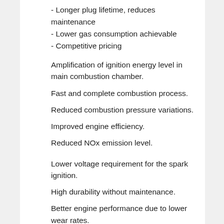- Longer plug lifetime, reduces maintenance
- Lower gas consumption achievable
- Competitive pricing
Amplification of ignition energy level in main combustion chamber.
Fast and complete combustion process.
Reduced combustion pressure variations.
Improved engine efficiency.
Reduced NOx emission level.
Lower voltage requirement for the spark ignition.
High durability without maintenance.
Better engine performance due to lower wear rates.
The spark plug is produced in Austira therefore it represents the highest standard and reliability!
Spark plug user guideline